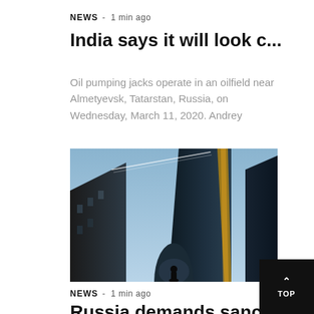NEWS - 1 min ago
India says it will look c...
Oil pumping jacks operate in an oilfield near Almetyevsk, Tatarstan, Russia, on Wednesday, March 11, 2020. Andrey
[Figure (photo): Low-angle photograph of tall glass skyscrapers against a blue sky, with a silhouetted figure at the bottom center.]
NEWS - 1 min ago
Russia demands sanctions ...